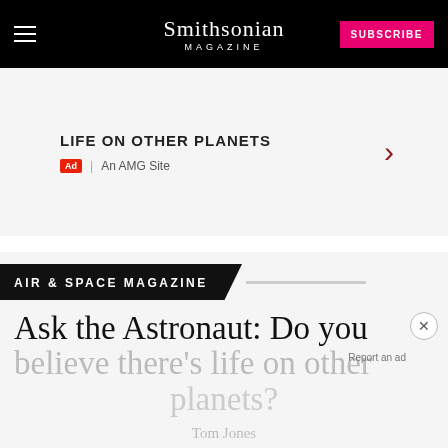Smithsonian MAGAZINE
LIFE ON OTHER PLANETS | Ad | An AMG Site
AIR & SPACE MAGAZINE
Ask the Astronaut: Do you believe there's life on other planets?
Tom Jones